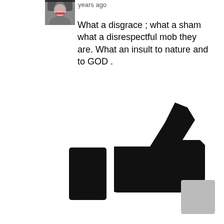[Figure (photo): Small profile picture thumbnail of a person with dark hair and red lips]
years ago
What a disgrace ; what a sham what a disrespectful mob they are. What an insult to nature and to GOD .
[Figure (illustration): Large black thumbs up / like icon]